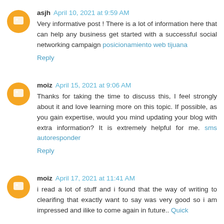asjh April 10, 2021 at 9:59 AM
Very informative post ! There is a lot of information here that can help any business get started with a successful social networking campaign posicionamiento web tijuana
Reply
moiz April 15, 2021 at 9:06 AM
Thanks for taking the time to discuss this, I feel strongly about it and love learning more on this topic. If possible, as you gain expertise, would you mind updating your blog with extra information? It is extremely helpful for me. sms autoresponder
Reply
moiz April 17, 2021 at 11:41 AM
i read a lot of stuff and i found that the way of writing to clearifing that exactly want to say was very good so i am impressed and ilike to come again in future.. Quick